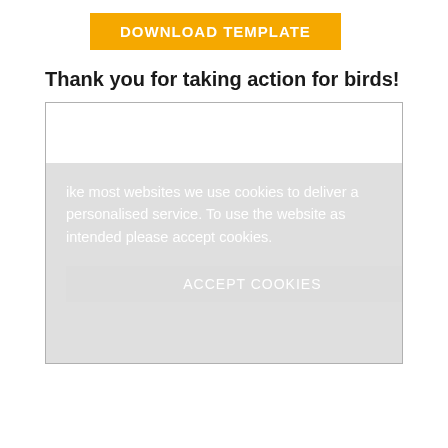[Figure (other): Yellow/orange download button with white bold uppercase text 'DOWNLOAD TEMPLATE']
Thank you for taking action for birds!
[Figure (screenshot): A white content box with a grey cookie consent overlay reading: 'like most websites we use cookies to deliver a personalised service. To use the website as intended please accept cookies.' with an 'Accept Cookies' button below.]